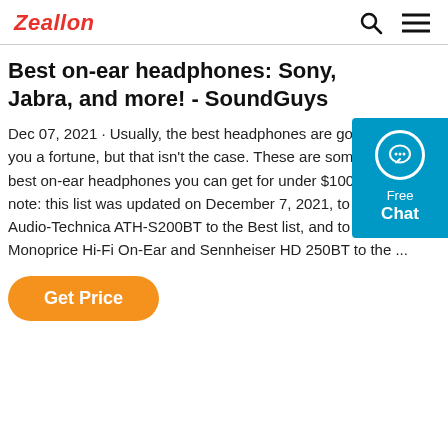Zeallon
[Figure (infographic): Chat widget on right side: circular chat icon with speech bubble, text 'Free Chat' on cyan/teal background]
Best on-ear headphones: Sony, Jabra, and more! - SoundGuys
Dec 07, 2021 · Usually, the best headphones are going to cost you a fortune, but that isn't the case. These are some of the best on-ear headphones you can get for under $100. Editor's note: this list was updated on December 7, 2021, to add the Audio-Technica ATH-S200BT to the Best list, and to add the Monoprice Hi-Fi On-Ear and Sennheiser HD 250BT to the ...
Get Price